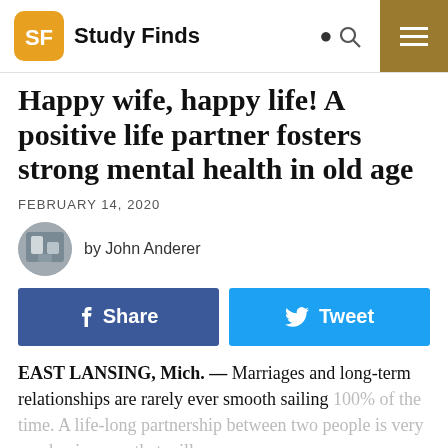Study Finds
Happy wife, happy life! A positive life partner fosters strong mental health in old age
FEBRUARY 14, 2020
by John Anderer
Share
Tweet
EAST LANSING, Mich. — Marriages and long-term relationships are rarely ever smooth sailing 100% of the time. A life-long partnership between two people is very much a journey that will